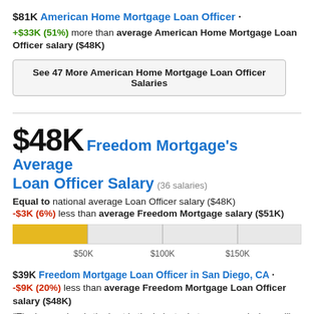$81K American Home Mortgage Loan Officer
+$33K (51%) more than average American Home Mortgage Loan Officer salary ($48K)
See 47 More American Home Mortgage Loan Officer Salaries
$48K Freedom Mortgage's Average Loan Officer Salary (36 salaries)
Equal to national average Loan Officer salary ($48K)
-$3K (6%) less than average Freedom Mortgage salary ($51K)
[Figure (bar-chart): Salary bar chart]
$39K Freedom Mortgage Loan Officer in San Diego, CA
-$9K (20%) less than average Freedom Mortgage Loan Officer salary ($48K)
"The base salary is the best in the industry but your commissions will not exceed the base due to micro-management and most of the